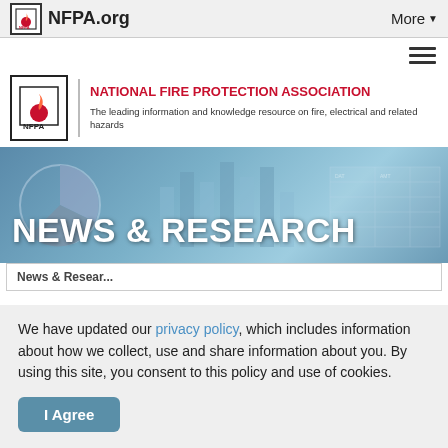NFPA.org   More
[Figure (logo): NFPA logo with flame icon and site name NFPA.org with More dropdown in nav bar]
[Figure (logo): NFPA National Fire Protection Association branding logo with flame and tagline: The leading information and knowledge resource on fire, electrical and related hazards]
[Figure (screenshot): NEWS & RESEARCH hero banner with blue-tinted background showing charts and data]
We have updated our privacy policy, which includes information about how we collect, use and share information about you. By using this site, you consent to this policy and use of cookies.
I Agree